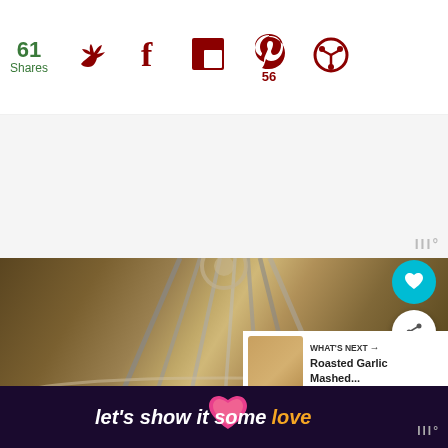[Figure (screenshot): Social sharing bar with 61 shares count in green, Twitter bird icon, Facebook f icon, Flipboard icon, Pinterest icon with 56 count, and a share/circle icon, all in dark red]
[Figure (photo): Close-up photo of a stand mixer whisk attachment mixing ingredients in a bowl, with 'What's Next' card showing Roasted Garlic Mashed... and floating heart/share buttons]
[Figure (screenshot): Bottom advertisement banner with dark purple background showing text: let's show it some love, with a pink heart icon and orange colored word 'love']